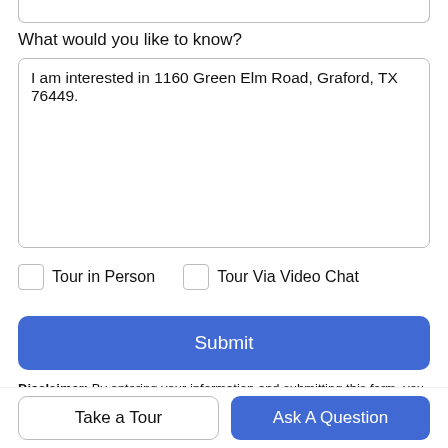What would you like to know?
I am interested in 1160 Green Elm Road, Graford, TX 76449.
Tour in Person
Tour Via Video Chat
Submit
Disclaimer: By entering your information and submitting this form, you agree to our Terms of Use and Privacy Policy and that you may be contacted by phone, text message and email about your inquiry.
Take a Tour
Ask A Question